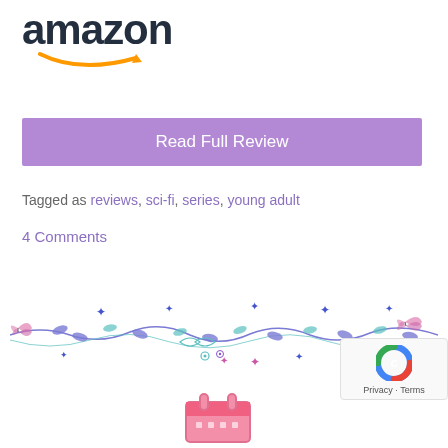[Figure (logo): Amazon logo with orange swoosh arrow]
Read Full Review
Tagged as reviews, sci-fi, series, young adult
4 Comments
[Figure (illustration): Decorative floral vine divider with blue, purple, pink, and teal flowers, leaves, and butterflies]
[Figure (other): reCAPTCHA badge with Privacy and Terms links]
[Figure (illustration): Pink calendar icon partially visible at bottom center]